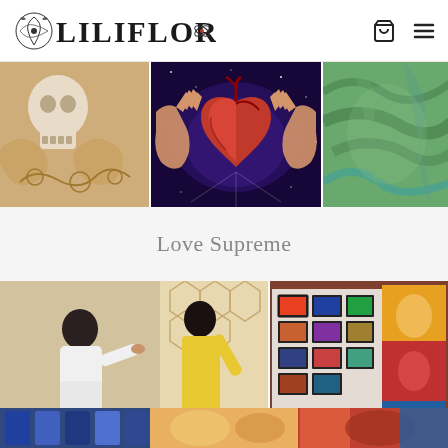LILIFLOR — website header with logo, shopping cart icon, and hamburger menu
[Figure (photo): Three-panel art strip: left panel shows skull and decorative mandala-style art in tan/gold tones; center panel shows an anatomical heart held by hands against a deep blue starry galaxy background; right panel shows green and teal abstract swirling mural art]
Love Supreme
[Figure (photo): Wide gallery/studio photo strip: left half shows people (in white and yellow clothing) painting a large mural on a wall; right half shows a gallery wall with multiple framed artworks and a large colorful mural panel]
[Figure (photo): Partial bottom strip showing colorful artwork panels in blue, orange, and multicolor tones]